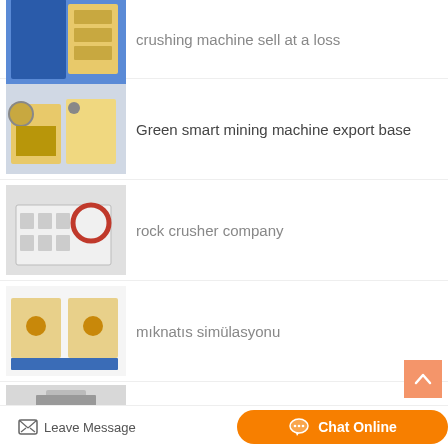crushing machine sell at a loss
Green smart mining machine export base
rock crusher company
mıknatıs simülasyonu
Mill And Elev…
[Figure (other): Orange button with chat bubble icon and text Chat Online]
Leave Message
Chat Online